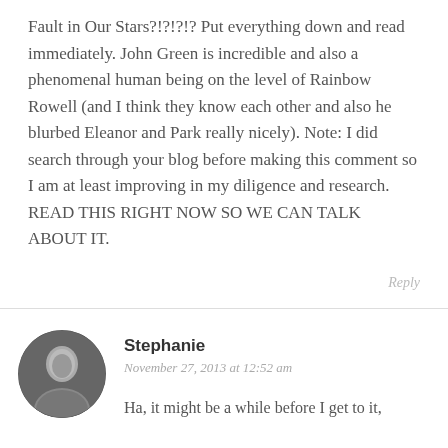Fault in Our Stars?!?!?!? Put everything down and read immediately. John Green is incredible and also a phenomenal human being on the level of Rainbow Rowell (and I think they know each other and also he blurbed Eleanor and Park really nicely). Note: I did search through your blog before making this comment so I am at least improving in my diligence and research. READ THIS RIGHT NOW SO WE CAN TALK ABOUT IT.
Reply
[Figure (photo): Circular avatar photo of Stephanie, a woman with dark hair, smiling, in black and white]
Stephanie
November 27, 2013 at 12:52 am
Ha, it might be a while before I get to it,